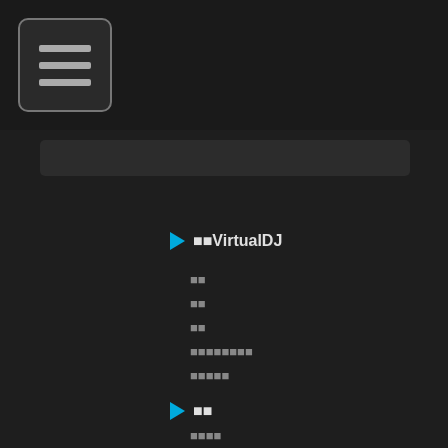Menu icon header
[Figure (screenshot): Dark search bar]
■■VirtualDJ
■■
■■
■■
■■■■■■■■
■■■■■
■■
■■■■
■■■■
■■
VDJ■■